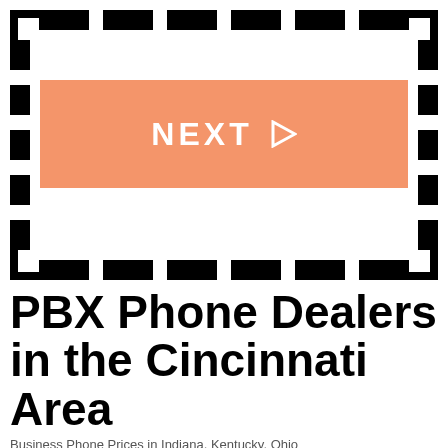[Figure (other): Film strip / video border with dashed perforations on all sides and an orange NEXT button with play arrow in the center]
PBX Phone Dealers in the Cincinnati Area
Business Phone Prices in Indiana, Kentucky, Ohio
Searching for a business phone system in the Cincinnati Area? PBXdealer.com has phone solutions specifically designed for businesses of all sizes. Would you like to